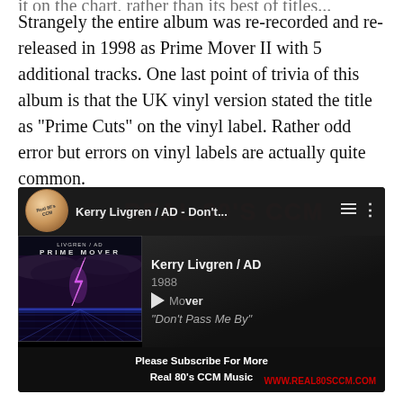Strangely the entire album was re-recorded and re-released in 1998 as Prime Mover II with 5 additional tracks. One last point of trivia of this album is that the UK vinyl version stated the title as "Prime Cuts" on the vinyl label. Rather odd error but errors on vinyl labels are actually quite common.
[Figure (screenshot): YouTube video player screenshot showing Kerry Livgren / AD - Don't... video. Thumbnail shows Prime Mover album art. Track info: Kerry Livgren / AD, 1988, Prime Mover, "Don't Pass Me By". Real 80's CCM watermark and logo visible. Subscribe bar at bottom: Please Subscribe For More Real 80's CCM Music. Website: WWW.REAL80SCCM.COM]